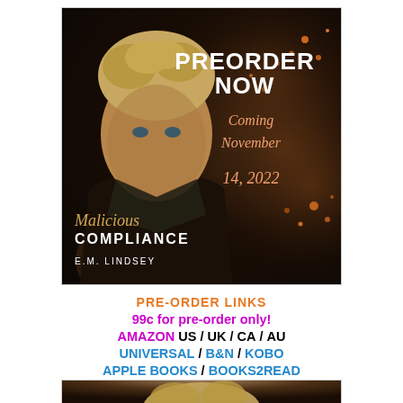[Figure (photo): Book cover for 'Malicious Compliance' by E.M. Lindsey. Shows a young man with curly blonde hair and dark shirt against a dark textured background. Text overlaid: 'PREORDER NOW', 'Coming November 14, 2022', 'Malicious Compliance', 'E.M. LINDSEY']
PRE-ORDER LINKS
99c for pre-order only!
AMAZON US / UK / CA / AU
UNIVERSAL / B&N / KOBO
APPLE BOOKS / BOOKS2READ
[Figure (photo): Partial view of a second book cover image showing curly hair at the top of the image, partially cropped.]